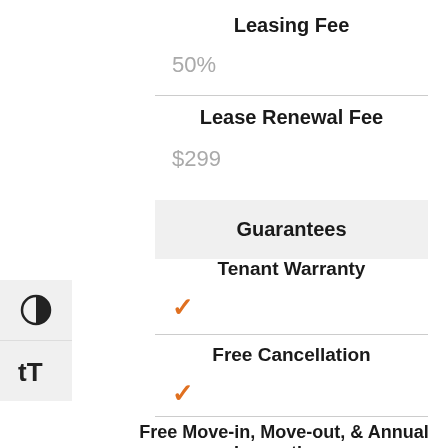Leasing Fee
50%
Lease Renewal Fee
$299
Guarantees
Tenant Warranty
✓
Free Cancellation
✓
Free Move-in, Move-out, & Annual Inspections
✓